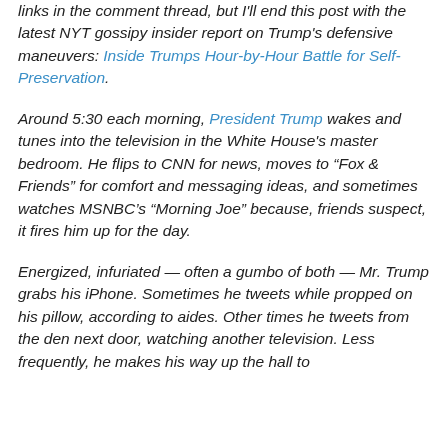links in the comment thread, but I'll end this post with the latest NYT gossipy insider report on Trump's defensive maneuvers: Inside Trumps Hour-by-Hour Battle for Self-Preservation.
Around 5:30 each morning, President Trump wakes and tunes into the television in the White House's master bedroom. He flips to CNN for news, moves to “Fox & Friends” for comfort and messaging ideas, and sometimes watches MSNBC’s “Morning Joe” because, friends suspect, it fires him up for the day.
Energized, infuriated — often a gumbo of both — Mr. Trump grabs his iPhone. Sometimes he tweets while propped on his pillow, according to aides. Other times he tweets from the den next door, watching another television. Less frequently, he makes his way up the hall to the ornate Treaty Room serving as his study, for the day...